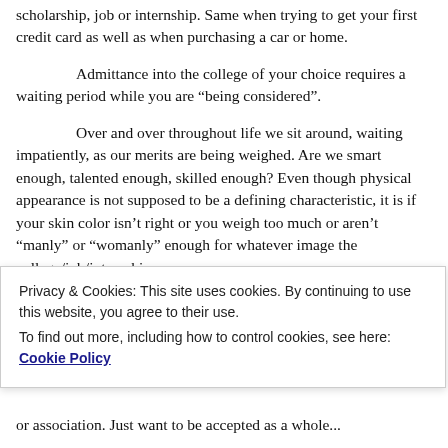scholarship, job or internship. Same when trying to get your first credit card as well as when purchasing a car or home.
Admittance into the college of your choice requires a waiting period while you are “being considered”.
Over and over throughout life we sit around, waiting impatiently, as our merits are being weighed. Are we smart enough, talented enough, skilled enough? Even though physical appearance is not supposed to be a defining characteristic, it is if your skin color isn’t right or you weigh too much or aren’t “manly” or “womanly” enough for whatever image the college/job/internship
Privacy & Cookies: This site uses cookies. By continuing to use this website, you agree to their use.
To find out more, including how to control cookies, see here: Cookie Policy
or association. Just want to be accepted as a whole...